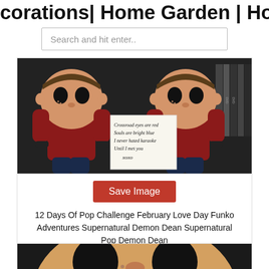corations| Home Garden | Home Fa...
Search and hit enter..
[Figure (photo): Two Funko Pop figures (Supernatural Demon Dean) on a dark shelf with DVD cases. A handwritten note between them reads: Crossroad eyes are red / Souls are bright blue / I never hated karaoke / Until I met you / xoxo]
Save Image
12 Days Of Pop Challenge February Love Day Funko Adventures Supernatural Demon Dean Supernatural Pop Demon Dean
[Figure (photo): Close-up of a Funko Pop figure head (Supernatural Demon Dean) with tan/beige coloring and black eyes on dark background]